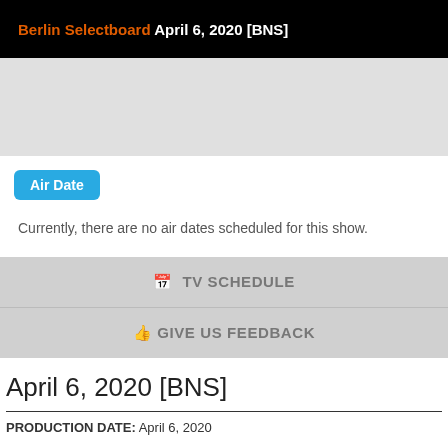Berlin Selectboard April 6, 2020 [BNS]
Air Date
Currently, there are no air dates scheduled for this show.
TV SCHEDULE
GIVE US FEEDBACK
April 6, 2020 [BNS]
PRODUCTION DATE: April 6, 2020